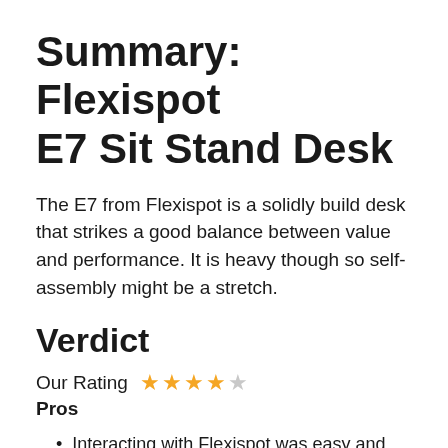Summary: Flexispot E7 Sit Stand Desk
The E7 from Flexispot is a solidly build desk that strikes a good balance between value and performance. It is heavy though so self-assembly might be a stretch.
Verdict
Our Rating ★★★★☆
Pros
Interacting with Flexispot was easy and efficient
Ability pick and choose desk / leg